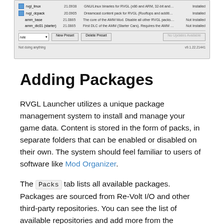[Figure (screenshot): Screenshot of RVGL Launcher Packs tab showing package list with rvgl_linux, rvgl_dcpack, amm_base, amm_dlc01 entries, toolbar with New Preset/Delete Preset buttons, and status bar]
Adding Packages
RVGL Launcher utilizes a unique package management system to install and manage your game data. Content is stored in the form of packs, in separate folders that can be enabled or disabled on their own. The system should feel familiar to users of software like Mod Organizer.
The Packs tab lists all available packages. Packages are sourced from Re-Volt I/O and other third-party repositories. You can see the list of available repositories and add more from the Repositories